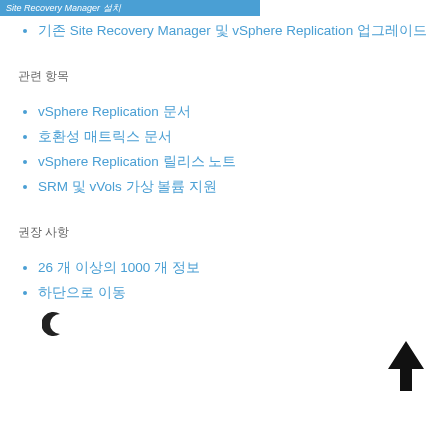Site Recovery Manager 설치
기존 Site Recovery Manager 및 vSphere Replication 업그레이드
관련 항목
vSphere Replication 문서
호환성 매트릭스 문서
vSphere Replication 릴리스 노트
SRM 및 vVols 가상 볼륨 지원
권장 사항
26 개 이상의 1000 개 정보
하단으로 이동